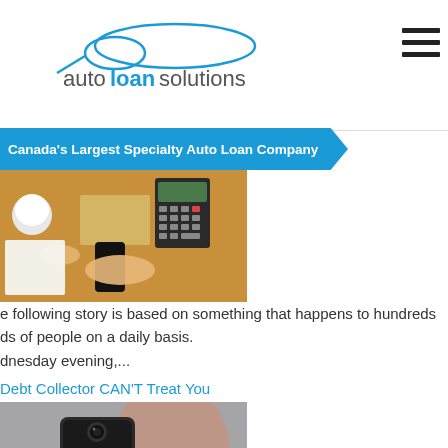autoloansolutions — Canada's Largest Specialty Auto Loan Company
[Figure (photo): Overhead shot of a desk with a calculator, coffee cup, papers, and hands holding a pen]
e following story is based on something that happens to hundreds ds of people on a daily basis. dnesday evening,...
Debt Collector CAN'T Treat You
[Figure (photo): Woman looking at a smartphone, blurred background]